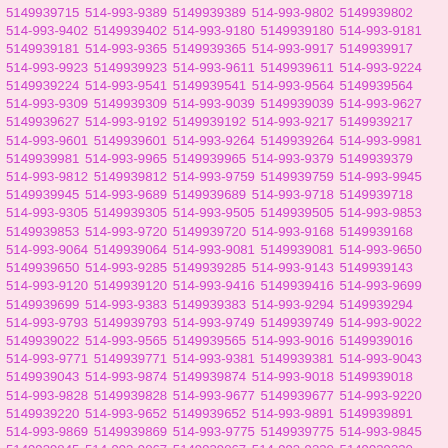5149939715 514-993-9389 5149939389 514-993-9802 5149939802 514-993-9402 5149939402 514-993-9180 5149939180 514-993-9181 5149939181 514-993-9365 5149939365 514-993-9917 5149939917 514-993-9923 5149939923 514-993-9611 5149939611 514-993-9224 5149939224 514-993-9541 5149939541 514-993-9564 5149939564 514-993-9309 5149939309 514-993-9039 5149939039 514-993-9627 5149939627 514-993-9192 5149939192 514-993-9217 5149939217 514-993-9601 5149939601 514-993-9264 5149939264 514-993-9981 5149939981 514-993-9965 5149939965 514-993-9379 5149939379 514-993-9812 5149939812 514-993-9759 5149939759 514-993-9945 5149939945 514-993-9689 5149939689 514-993-9718 5149939718 514-993-9305 5149939305 514-993-9505 5149939505 514-993-9853 5149939853 514-993-9720 5149939720 514-993-9168 5149939168 514-993-9064 5149939064 514-993-9081 5149939081 514-993-9650 5149939650 514-993-9285 5149939285 514-993-9143 5149939143 514-993-9120 5149939120 514-993-9416 5149939416 514-993-9699 5149939699 514-993-9383 5149939383 514-993-9294 5149939294 514-993-9793 5149939793 514-993-9749 5149939749 514-993-9022 5149939022 514-993-9565 5149939565 514-993-9016 5149939016 514-993-9771 5149939771 514-993-9381 5149939381 514-993-9043 5149939043 514-993-9874 5149939874 514-993-9018 5149939018 514-993-9828 5149939828 514-993-9677 5149939677 514-993-9220 5149939220 514-993-9652 5149939652 514-993-9891 5149939891 514-993-9869 5149939869 514-993-9775 5149939775 514-993-9845 5149939845 514-993-9067 5149939067 514-993-9230 5149939230 514-993-9913 5149939913 514-993-9819 5149939819 514-993-9644 5149939644 514-993-9521 5149939521 514-993-9330 5149939330